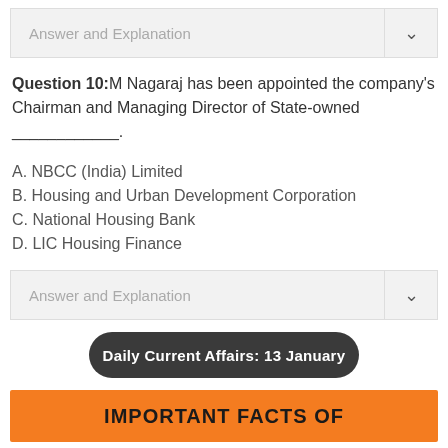Answer and Explanation
Question 10: M Nagaraj has been appointed the company's Chairman and Managing Director of State-owned ____________.
A. NBCC (India) Limited
B. Housing and Urban Development Corporation
C. National Housing Bank
D. LIC Housing Finance
Answer and Explanation
Daily Current Affairs: 13 January
IMPORTANT FACTS OF